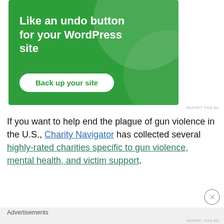[Figure (screenshot): Green advertisement banner with text 'Like an undo button for your WordPress site' and a 'Back up your site' button]
REPORT THIS AD
If you want to help end the plague of gun violence in the U.S., Charity Navigator has collected several highly-rated charities specific to gun violence, mental health, and victim support.
Advertisements
REPORT THIS AD